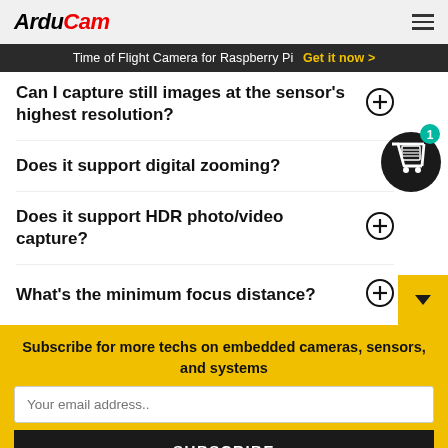ArduCam — hamburger menu
Time of Flight Camera for Raspberry Pi  Get it now >
Can I capture still images at the sensor's highest resolution?
Does it support digital zooming?
Does it support HDR photo/video capture?
What's the minimum focus distance?
Subscribe for more techs on embedded cameras, sensors, and systems
Your email address..
SUBSCRIBE